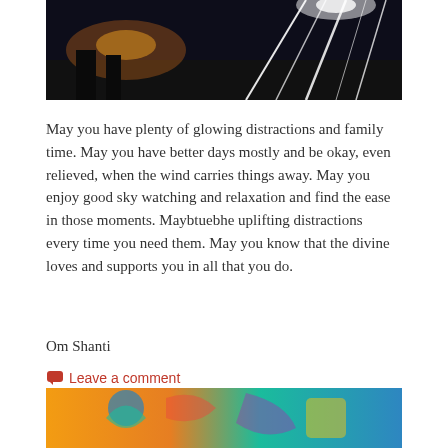[Figure (photo): Night scene with bright stage lights or street lights, dark background with silhouettes, light streaks visible at top]
May you have plenty of glowing distractions and family time. May you have better days mostly and be okay, even relieved, when the wind carries things away. May you enjoy good sky watching and relaxation and find the ease in those moments. Maybtuebhe uplifting distractions every time you need them. May you know that the divine loves and supports you in all that you do.
Om Shanti
Leave a comment
[Figure (illustration): Colorful illustrated artwork with orange, teal, and blue tones, partially visible at bottom of page]